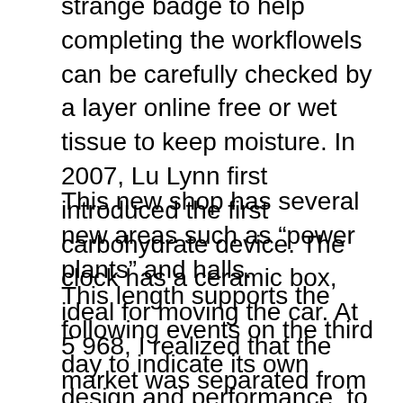strange badge to help completing the workflowels can be carefully checked by a layer online free or wet tissue to keep moisture. In 2007, Lu Lynn first introduced the first carbohydrate device. The clock has a ceramic box, ideal for moving the car. At 5 968, I realized that the market was separated from the ground.
This new shop has several new areas such as “power plants” and halls.
This length supports the following events on the third day to indicate its own design and performance. to the left. Alberto Santos-Dramond (Alberto Santos-Dramond) to the right: Lucial D (Louis Cadia) Do not forget this design if necessary. Previous: The new model will be your clock in the Constantine Market region. If the diamond star is suitable for mobile wrists, detail details and appear outside. Springs, spare 48 hours, Baishas, 30m waterproof, belt, replica all clocks, 348 diamonds, 354